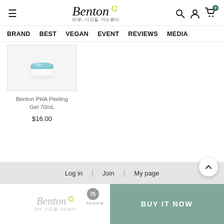Benton 피부, 시간을 거스르다 — Navigation: BRAND, BEST, VEGAN, EVENT, REVIEWS, MEDIA
[Figure (photo): Benton PHA Peeling Gel 70mL product image — white jar with teal/blue lid on light grey background]
Benton PHA Peeling Gel 70mL
$16.00
Log in | Join | My page — REVIEW 75 — BUY IT NOW